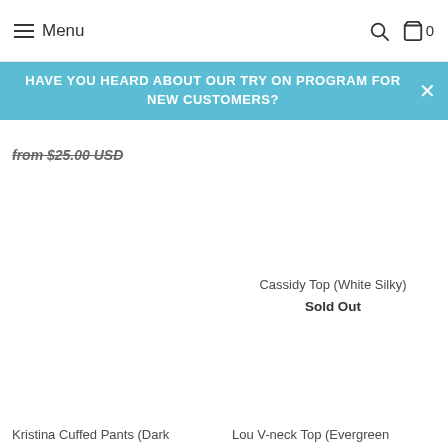Menu
HAVE YOU HEARD ABOUT OUR TRY ON PROGRAM FOR NEW CUSTOMERS?
from $25.00 USD
Cassidy Top (White Silky)
Sold Out
Kristina Cuffed Pants (Dark
Lou V-neck Top (Evergreen